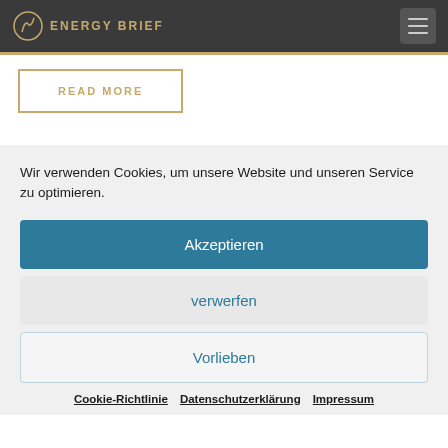ENERGY BRIEF
READ MORE
Wir verwenden Cookies, um unsere Website und unseren Service zu optimieren.
Akzeptieren
verwerfen
Vorlieben
Cookie-Richtlinie  Datenschutzerklärung  Impressum